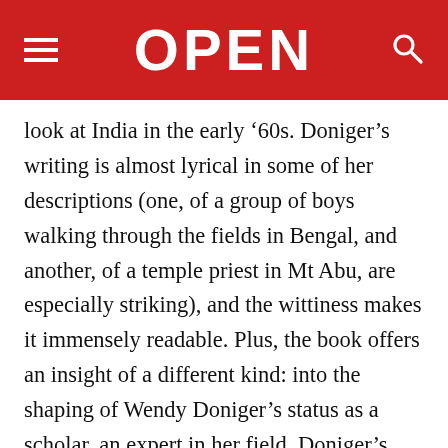OPEN
look at India in the early ’60s. Doniger’s writing is almost lyrical in some of her descriptions (one, of a group of boys walking through the fields in Bengal, and another, of a temple priest in Mt Abu, are especially striking), and the wittiness makes it immensely readable. Plus, the book offers an insight of a different kind: into the shaping of Wendy Doniger’s status as a scholar, an expert in her field. Doniger’s letters to her parents also included field notes, and though most of these have been left out here, what remains is enough to at least hint at the genesis of several books Doniger would go on to write.